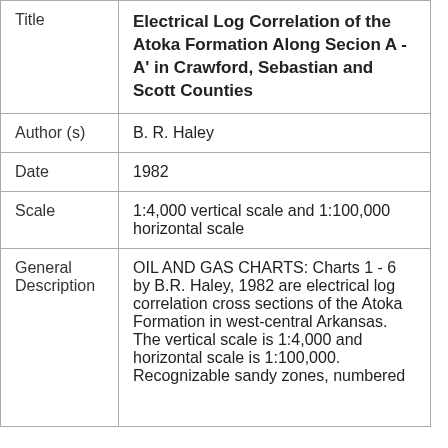| Field | Value |
| --- | --- |
| Title | Electrical Log Correlation of the Atoka Formation Along Secion A - A' in Crawford, Sebastian and Scott Counties |
| Author (s) | B. R. Haley |
| Date | 1982 |
| Scale | 1:4,000 vertical scale and 1:100,000 horizontal scale |
| General Description | OIL AND GAS CHARTS: Charts 1 - 6 by B.R. Haley, 1982 are electrical log correlation cross sections of the Atoka Formation in west-central Arkansas. The vertical scale is 1:4,000 and horizontal scale is 1:100,000. Recognizable sandy zones, numbered |